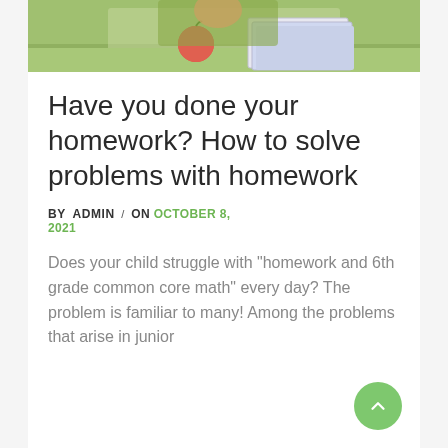[Figure (photo): Student at a desk with an apple and notebooks, viewed from above, on a green background]
Have you done your homework? How to solve problems with homework
BY  ADMIN  /  ON  OCTOBER 8, 2021
Does your child struggle with "homework and 6th grade common core math" every day? The problem is familiar to many! Among the problems that arise in junior